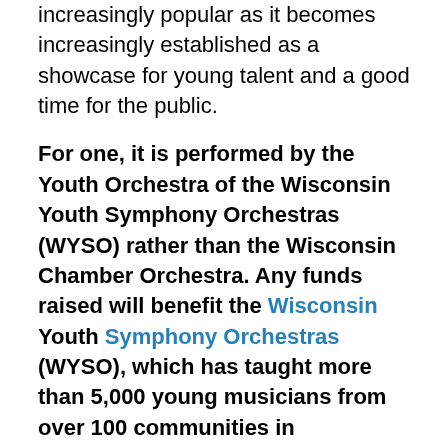increasingly popular as it becomes increasingly established as a showcase for young talent and a good time for the public.
For one, it is performed by the Youth Orchestra of the Wisconsin Youth Symphony Orchestras (WYSO) rather than the Wisconsin Chamber Orchestra. Any funds raised will benefit the Wisconsin Youth Symphony Orchestras (WYSO), which has taught more than 5,000 young musicians from over 100 communities in Southcentral Wisconsin since it was a founded in 1966.
For more information about WYSO, here is a link to WYSO: http://wyso.music.wisc.edu
Also, the guiding financial support comes from the Gialamas Company, a real estate development firm